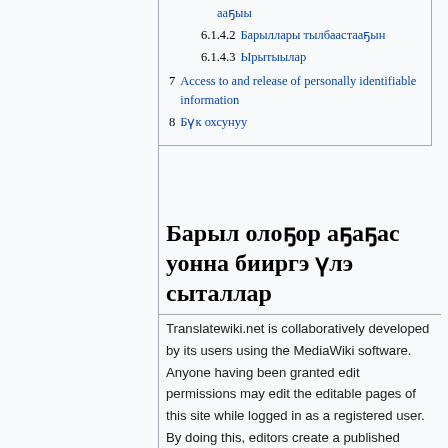ааҕыы
6.1.4.2 Барыллары тылбаастааҕын
6.1.4.3 Ырытыылар
7 Access to and release of personally identifiable information
8 Бүк охсунуу
Барыл олоҕор аҕаҕас уонна бииргэ үлэ сыталлар
Translatewiki.net is collaboratively developed by its users using the MediaWiki software. Anyone having been granted edit permissions may edit the editable pages of this site while logged in as a registered user. By doing this, editors create a published document, and a public record of every word added, subtracted, or changed.